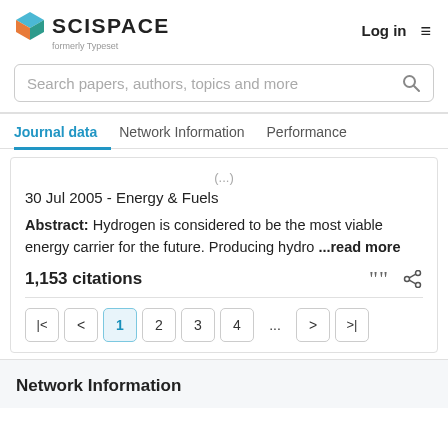[Figure (logo): SciSpace logo with colored cube icon and text SCISPACE formerly Typeset]
Log in
Search papers, authors, topics and more
Journal data | Network Information | Performance
30 Jul 2005 - Energy & Fuels
Abstract: Hydrogen is considered to be the most viable energy carrier for the future. Producing hydro ...read more
1,153 citations
Pagination: 1 2 3 4 ... > >|
Network Information